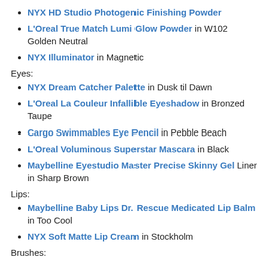NYX HD Studio Photogenic Finishing Powder
L'Oreal True Match Lumi Glow Powder in W102 Golden Neutral
NYX Illuminator in Magnetic
Eyes:
NYX Dream Catcher Palette in Dusk til Dawn
L'Oreal La Couleur Infallible Eyeshadow in Bronzed Taupe
Cargo Swimmables Eye Pencil in Pebble Beach
L'Oreal Voluminous Superstar Mascara in Black
Maybelline Eyestudio Master Precise Skinny Gel Liner in Sharp Brown
Lips:
Maybelline Baby Lips Dr. Rescue Medicated Lip Balm in Too Cool
NYX Soft Matte Lip Cream in Stockholm
Brushes: